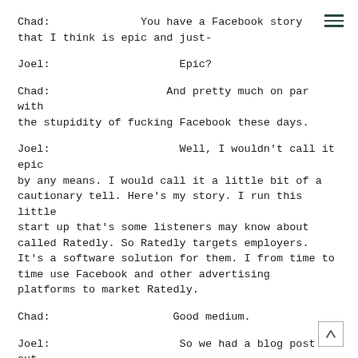Chad:          You have a Facebook story that I think is epic and just-
Joel:                Epic?
Chad:                And pretty much on par with the stupidity of fucking Facebook these days.
Joel:                Well, I wouldn't call it epic by any means. I would call it a little bit of a cautionary tell. Here's my story. I run this little start up that's some listeners may know about called Ratedly. So Ratedly targets employers. It's a software solution for them. I from time to time use Facebook and other advertising platforms to market Ratedly.
Chad:                Good medium.
Joel:                So we had a blog post out recently, the title was essentially Why You Should Stop Ignoring Your Online Employment Reviews, or something like that. The...